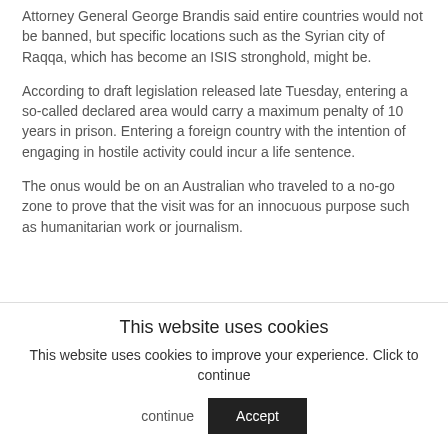Attorney General George Brandis said entire countries would not be banned, but specific locations such as the Syrian city of Raqqa, which has become an ISIS stronghold, might be.
According to draft legislation released late Tuesday, entering a so-called declared area would carry a maximum penalty of 10 years in prison. Entering a foreign country with the intention of engaging in hostile activity could incur a life sentence.
The onus would be on an Australian who traveled to a no-go zone to prove that the visit was for an innocuous purpose such as humanitarian work or journalism.
This website uses cookies
This website uses cookies to improve your experience. Click to continue
Accept